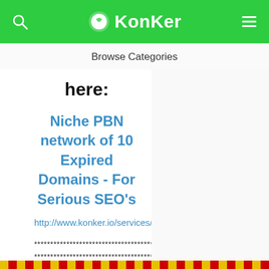KonKer
Browse Categories
here:
Niche PBN network of 10 Expired Domains - For Serious SEO's
http://www.konker.io/services/4951
****************************************************
****************************************************
***********************